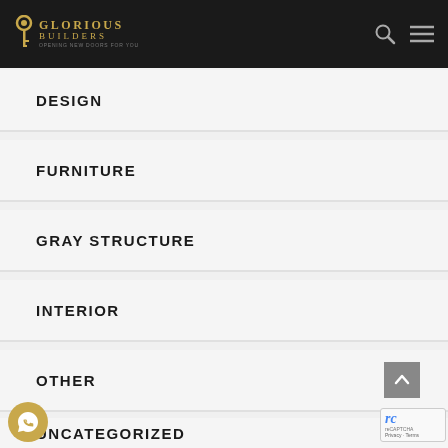GLORIOUS BUILDERS — OPENING NEW DOORS FOR YOU
DESIGN
FURNITURE
GRAY STRUCTURE
INTERIOR
OTHER
UNCATEGORIZED